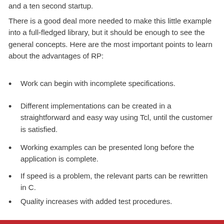and a ten second startup.
There is a good deal more needed to make this little example into a full-fledged library, but it should be enough to see the general concepts. Here are the most important points to learn about the advantages of RP:
Work can begin with incomplete specifications.
Different implementations can be created in a straightforward and easy way using Tcl, until the customer is satisfied.
Working examples can be presented long before the application is complete.
If speed is a problem, the relevant parts can be rewritten in C.
Quality increases with added test procedures.
I did a really big project that integrated CAD (computer aided drafting) and PPC (production planning and control) software, and I successfully used the ideas presented above. (See Figure 4 and Figure 5.) The project took more than a year, and